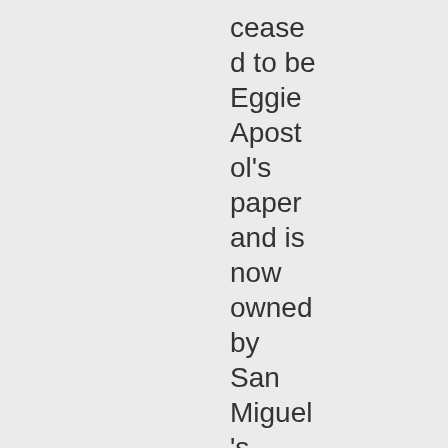ceased to be Eggie Apostol's paper and is now owned by San Miguel's Ramon Ang and